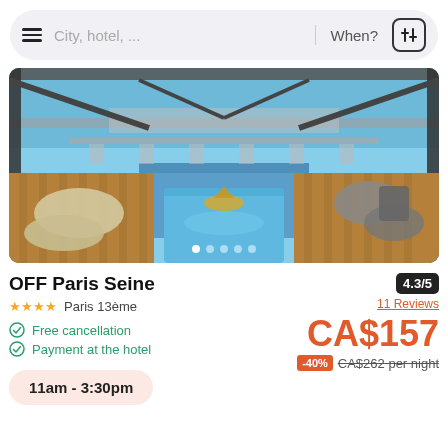City, hotel, ...  When?
[Figure (photo): Hotel OFF Paris Seine exterior/pool deck view overlooking the Seine river with bridges in the background, modern architecture with open-air terrace and water feature]
OFF Paris Seine
★★★★ Paris 13ème
4.3/5
11 Reviews
Free cancellation
Payment at the hotel
CA$157
-40%  CA$262 per night
11am - 3:30pm